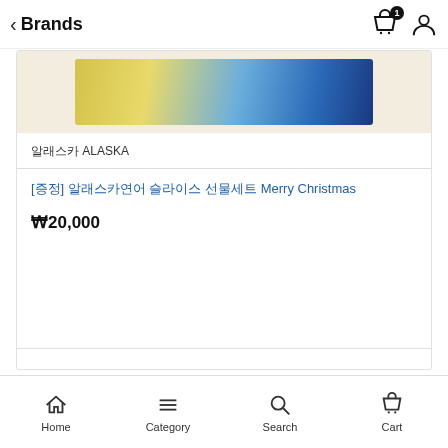Brands
[Figure (photo): Product image showing a yellow and blue packaged item on a beige background]
알래스카 ALASKA
[증정] 알래스카연어 슬라이스 선물세트 Merry Christmas
₩20,000
Home  Category  Search  Cart